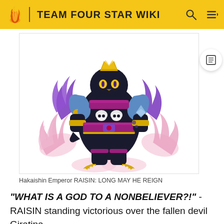TEAM FOUR STAR WIKI
[Figure (illustration): Hakaishin Emperor RAISIN: a cartoon character resembling a god-like penguin figure in black armor with purple and gold accents, surrounded by pink and purple flames, with golden clawed feet, blue shoulder pieces, skull emblems on the chest, and a purple belt. The character stands in a powerful pose against a white background.]
Hakaishin Emperor RAISIN: LONG MAY HE REIGN
"WHAT IS A GOD TO A NONBELIEVER?!" - RAISIN standing victorious over the fallen devil Giratina